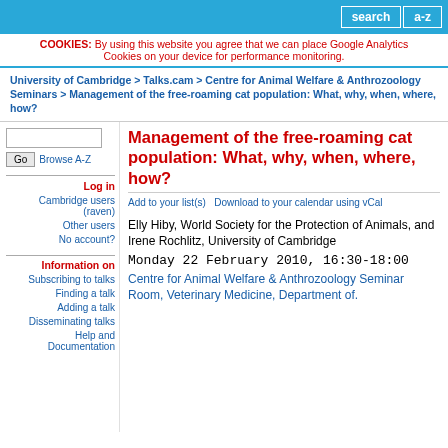search  a-z
COOKIES: By using this website you agree that we can place Google Analytics Cookies on your device for performance monitoring.
University of Cambridge > Talks.cam > Centre for Animal Welfare & Anthrozoology Seminars > Management of the free-roaming cat population: What, why, when, where, how?
Management of the free-roaming cat population: What, why, when, where, how?
Add to your list(s)    Download to your calendar using vCal
Elly Hiby, World Society for the Protection of Animals, and Irene Rochlitz, University of Cambridge
Monday 22 February 2010, 16:30-18:00
Centre for Animal Welfare & Anthrozoology Seminar Room, Veterinary Medicine, Department of.
Log in
Cambridge users (raven)
Other users
No account?
Information on
Subscribing to talks
Finding a talk
Adding a talk
Disseminating talks
Help and Documentation